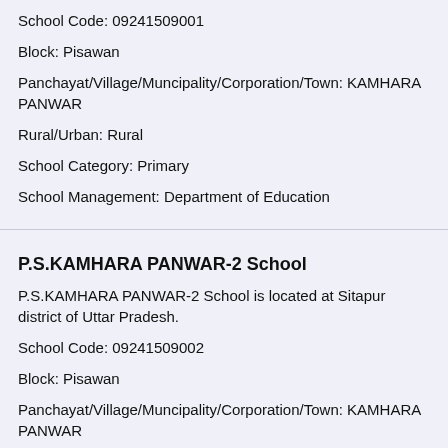School Code: 09241509001
Block: Pisawan
Panchayat/Village/Muncipality/Corporation/Town: KAMHARA PANWAR
Rural/Urban: Rural
School Category: Primary
School Management: Department of Education
P.S.KAMHARA PANWAR-2 School
P.S.KAMHARA PANWAR-2 School is located at Sitapur district of Uttar Pradesh.
School Code: 09241509002
Block: Pisawan
Panchayat/Village/Muncipality/Corporation/Town: KAMHARA PANWAR